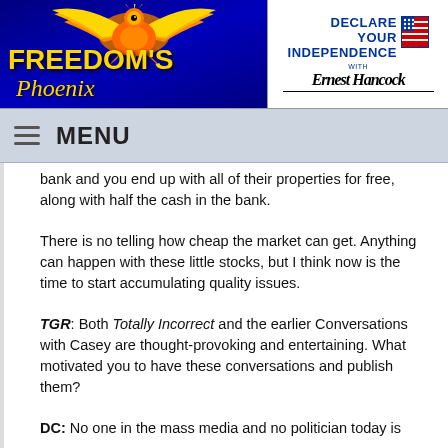[Figure (logo): Freedom's Phoenix logo with golden phoenix bird and stylized text on blue background]
[Figure (logo): Declare Your Independence with Ernest Hancock logo with US flag and signature]
MENU
bank and you end up with all of their properties for free, along with half the cash in the bank.
There is no telling how cheap the market can get. Anything can happen with these little stocks, but I think now is the time to start accumulating quality issues.
TGR: Both Totally Incorrect and the earlier Conversations with Casey are thought-provoking and entertaining. What motivated you to have these conversations and publish them?
DC: No one in the mass media and no politician today is